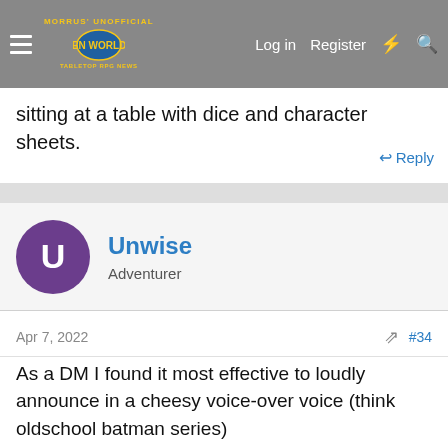Morrus' Unofficial Tabletop RPG News — Log in  Register
sitting at a table with dice and character sheets.
Reply
Unwise
Adventurer
Apr 7, 2022   #34
As a DM I found it most effective to loudly announce in a cheesy voice-over voice (think oldschool batman series)

"When last we saw our heroes...."

It quiets people down, allows me to give a recap of exactly where they are, and lets everybody know we are playing now.